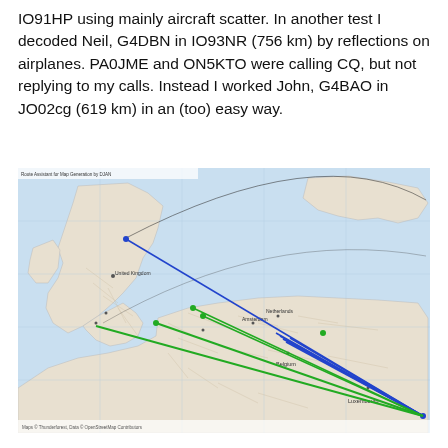IO91HP using mainly aircraft scatter. In another test I decoded Neil, G4DBN in IO93NR (756 km) by reflections on airplanes. PA0JME and ON5KTO were calling CQ, but not replying to my calls. Instead I worked John, G4BAO in JO02cg (619 km) in an (too) easy way.
[Figure (map): Geographic map showing UK, Belgium, Netherlands, Luxembourg region with radio contact paths drawn as colored lines. Blue lines connect from northern England area southward to Belgium/Luxembourg area. Green lines connect from London/southern England area to Belgium/Luxembourg. Thin black arc curves over Norway/Scandinavia. Map attribution: Maps © Thunderforest, Data © OpenStreetMap Contributors.]